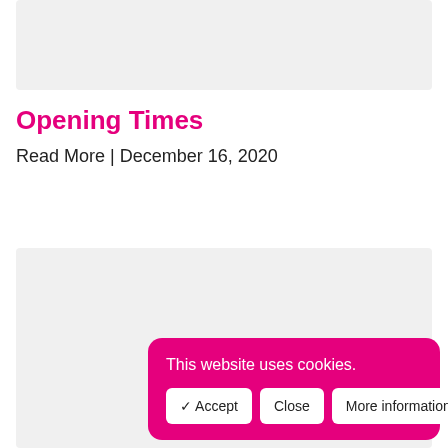[Figure (other): Gray placeholder box at top of page]
Opening Times
Read More | December 16, 2020
[Figure (other): Gray placeholder box in lower section of page]
This website uses cookies.
✔ Accept   Close   More information